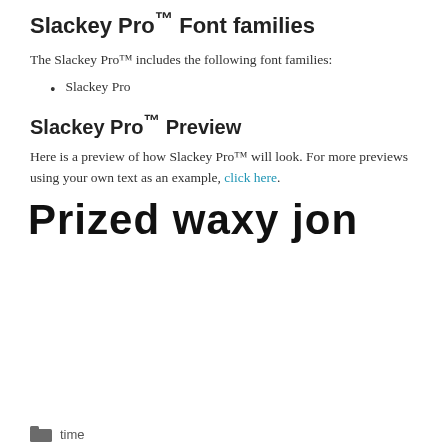Slackey Pro™ Font families
The Slackey Pro™ includes the following font families:
Slackey Pro
Slackey Pro™ Preview
Here is a preview of how Slackey Pro™ will look. For more previews using your own text as an example, click here.
[Figure (other): Large bold display text reading 'Prized waxy jon' in a rounded sans-serif font]
time